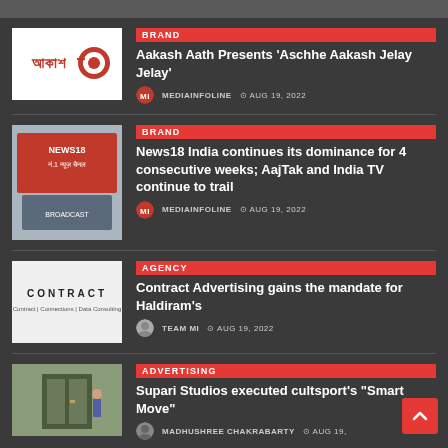BRAND | Aakash Aath Presents 'Aschhe Aakash Jelay Jelay' | MEDIAINFOLINE | AUG 19, 2022
BRAND | News18 India continues its dominance for 4 consecutive weeks; AajTak and India TV continue to trail | MEDIAINFOLINE | AUG 19, 2022
AGENCY | Contract Advertising gains the mandate for Haldiram's | TEAM MI | AUG 19, 2022
ADVERTISING | Supari Studios executed cultsport's "Smart Move" | MADHUSHREE CHAKRABARTY | AUG 19,